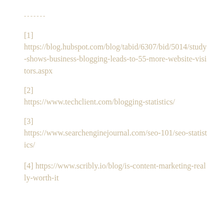-------
[1] https://blog.hubspot.com/blog/tabid/6307/bid/5014/study-shows-business-blogging-leads-to-55-more-website-visitors.aspx
[2] https://www.techclient.com/blogging-statistics/
[3] https://www.searchenginejournal.com/seo-101/seo-statistics/
[4] https://www.scribly.io/blog/is-content-marketing-really-worth-it